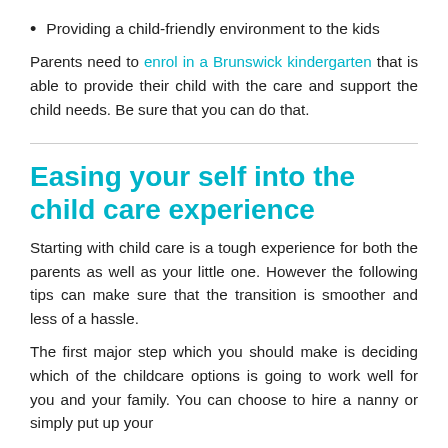Providing a child-friendly environment to the kids
Parents need to enrol in a Brunswick kindergarten that is able to provide their child with the care and support the child needs. Be sure that you can do that.
Easing your self into the child care experience
Starting with child care is a tough experience for both the parents as well as your little one. However the following tips can make sure that the transition is smoother and less of a hassle.
The first major step which you should make is deciding which of the childcare options is going to work well for you and your family. You can choose to hire a nanny or simply put up your